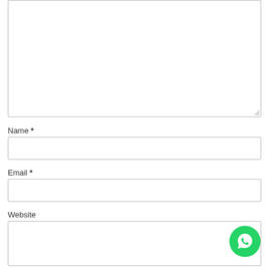[Figure (other): Large empty textarea input box with resize handle at bottom-right corner]
Name *
[Figure (other): Single-line text input field for Name]
Email *
[Figure (other): Single-line text input field for Email]
Website
[Figure (other): Single-line text input field for Website, partially visible]
[Figure (other): Green circular WhatsApp button with chat bubble icon, bottom-right corner]